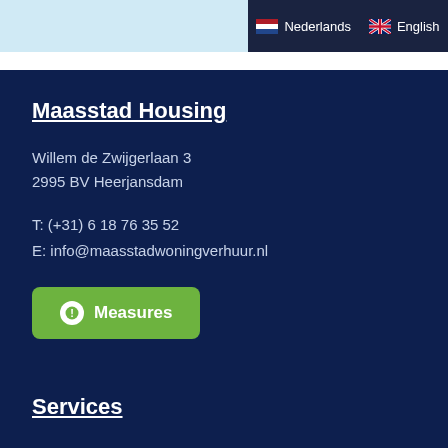[Figure (screenshot): Top navigation bar with light blue partial background on the left and dark navy language selector on the right showing Dutch flag with 'Nederlands' and UK flag with 'English']
Willem de Zwijgerlaan 3
2995 BV Heerjansdam
T: (+31) 6 18 76 35 52
E: info@maasstadwoningverhuur.nl
Maasstad Housing
Measures
Services